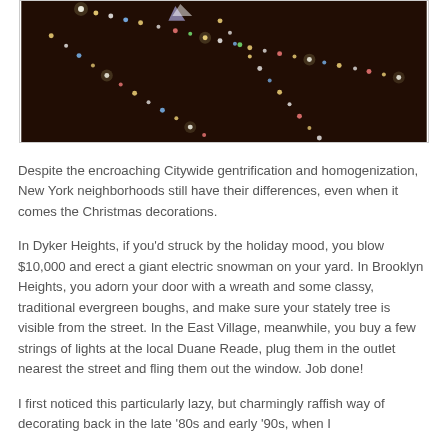[Figure (photo): Dark nighttime photograph showing colorful Christmas string lights hanging or draped, with small points of colored light against a very dark brown/black background.]
Despite the encroaching Citywide gentrification and homogenization, New York neighborhoods still have their differences, even when it comes the Christmas decorations.
In Dyker Heights, if you'd struck by the holiday mood, you blow $10,000 and erect a giant electric snowman on your yard. In Brooklyn Heights, you adorn your door with a wreath and some classy, traditional evergreen boughs, and make sure your stately tree is visible from the street. In the East Village, meanwhile, you buy a few strings of lights at the local Duane Reade, plug them in the outlet nearest the street and fling them out the window. Job done!
I first noticed this particularly lazy, but charmingly raffish way of decorating back in the late '80s and early '90s, when I